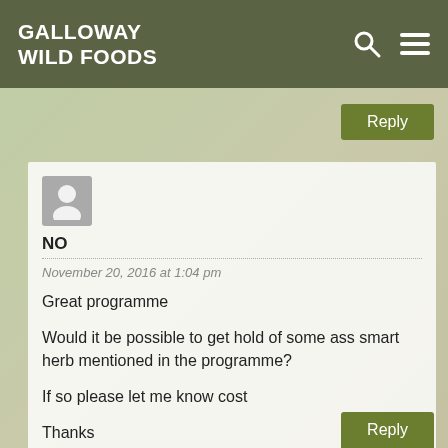GALLOWAY WILD FOODS
[Figure (screenshot): Reply button (green) top right of comment]
[Figure (photo): Background photo of wild foods / mushrooms basket, semi-transparent overlay]
[Figure (illustration): Generic user avatar icon (grey silhouette)]
NO
November 20, 2016 at 1:04 pm
Great programme

Would it be possible to get hold of some ass smart herb mentioned in the programme?

If so please let me know cost

Thanks
[Figure (screenshot): Reply button (green) bottom right of comment]